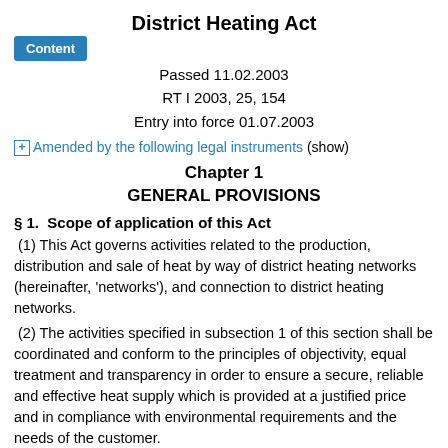District Heating Act
Passed 11.02.2003
RT I 2003, 25, 154
Entry into force 01.07.2003
⊞ Amended by the following legal instruments (show)
Chapter 1
GENERAL PROVISIONS
§ 1.  Scope of application of this Act
(1) This Act governs activities related to the production, distribution and sale of heat by way of district heating networks (hereinafter, 'networks'), and connection to district heating networks.
(2) The activities specified in subsection 1 of this section shall be coordinated and conform to the principles of objectivity, equal treatment and transparency in order to ensure a secure, reliable and effective heat supply which is provided at a justified price and in compliance with environmental requirements and the needs of the customer.